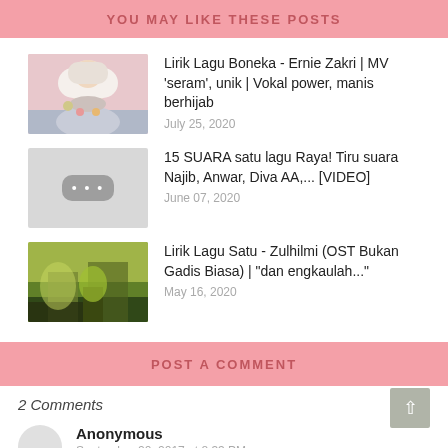YOU MAY LIKE THESE POSTS
[Figure (photo): Thumbnail photo of a woman wearing hijab]
Lirik Lagu Boneka - Ernie Zakri | MV 'seram', unik | Vokal power, manis berhijab
July 25, 2020
[Figure (other): Video placeholder thumbnail with three dots]
15 SUARA satu lagu Raya! Tiru suara Najib, Anwar, Diva AA,... [VIDEO]
June 07, 2020
[Figure (photo): Thumbnail photo of outdoor scene]
Lirik Lagu Satu - Zulhilmi (OST Bukan Gadis Biasa) | "dan engkaulah..."
May 16, 2020
POST A COMMENT
2 Comments
Anonymous
September 20, 2017 at 8:33 PM
i sukakan bts since dorang debut lagi hehe